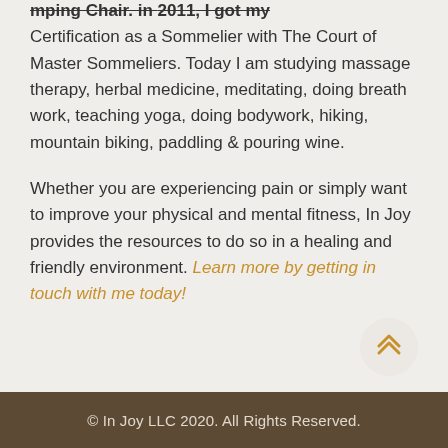Certification as a Sommelier with The Court of Master Sommeliers. Today I am studying massage therapy, herbal medicine, meditating, doing breath work, teaching yoga, doing bodywork, hiking, mountain biking, paddling & pouring wine.
Whether you are experiencing pain or simply want to improve your physical and mental fitness, In Joy provides the resources to do so in a healing and friendly environment. Learn more by getting in touch with me today!
© In Joy LLC 2020. All Rights Reserved.